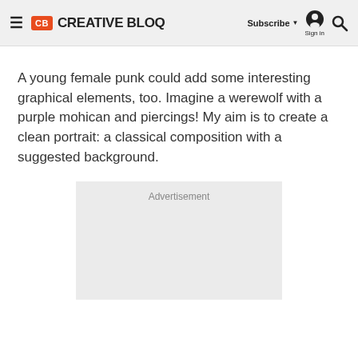CB CREATIVE BLOQ | Subscribe ▼ | Sign in | 🔍
A young female punk could add some interesting graphical elements, too. Imagine a werewolf with a purple mohican and piercings! My aim is to create a clean portrait: a classical composition with a suggested background.
[Figure (other): Advertisement placeholder box with light grey background and 'Advertisement' label at top]